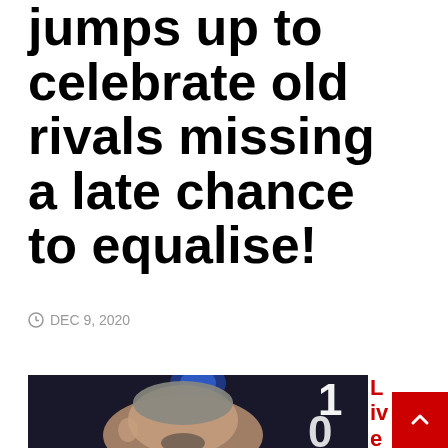jumps up to celebrate old rivals missing a late chance to equalise!
DEC 9, 2020
[Figure (photo): A man (TV pundit) with mouth open reacting, in front of a TV studio screen showing a score of 1-0, with a blue team badge visible. Photo is partially cropped at the bottom of the page.]
Liverpoo